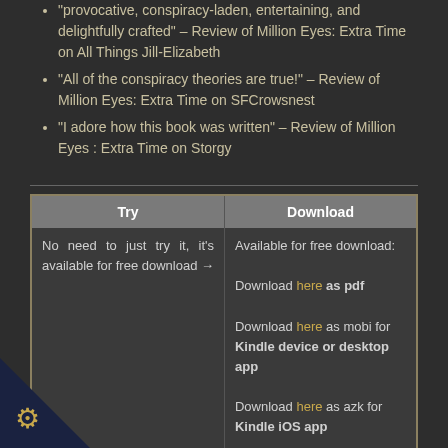"provocative, conspiracy-laden, entertaining, and delightfully crafted" – Review of Million Eyes: Extra Time on All Things Jill-Elizabeth
"All of the conspiracy theories are true!" – Review of Million Eyes: Extra Time on SFCrowsnest
"I adore how this book was written" – Review of Million Eyes : Extra Time on Storgy
| Try | Download |
| --- | --- |
| No need to just try it, it's available for free download → | Available for free download:

Download here as pdf

Download here as mobi for Kindle device or desktop app

Download here as azk for Kindle iOS app

Download here as ePub for iBook, Kobo or any other |